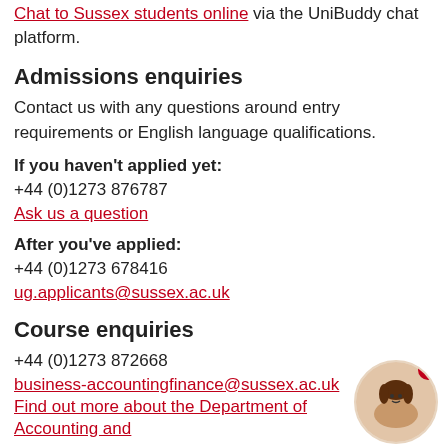Chat to Sussex students online via the UniBuddy chat platform.
Admissions enquiries
Contact us with any questions around entry requirements or English language qualifications.
If you haven't applied yet:
+44 (0)1273 876787
Ask us a question
After you've applied:
+44 (0)1273 678416
ug.applicants@sussex.ac.uk
Course enquiries
+44 (0)1273 872668
business-accountingfinance@sussex.ac.uk
Find out more about the Department of Accounting and